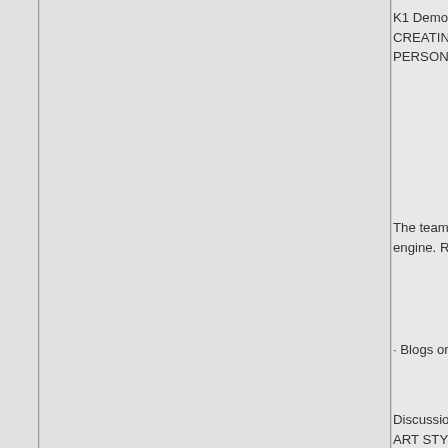K1 Demonstrate critical and conceptual understanding of the game genre and game creating process. THE CREATING PROCESS SHOULD BE DOCUMENTED THROUGH TEAM AND PERSONAL ACCOUNTS OF WHAT YOU LEARNED
The team will show critical and conceptual understanding of the game genre through working with the game engine. RENDERS OF LEVEL AND VIDEO
· Blogs on the projects forum (website)
Discussions with tutors and peers LIST AND NOTE WHAT WAS SAID THIS CAN INCLUDE ART STYLE GUIDANCE/ TECHNICAL HELP SUCH
· Working with other mod teams to solve technical issues HAD THE MOST CORRELATION BETWEEN CODING AND AUDIO ETC
K2 Identify the creative and industry factors, processes
· Gain an understanding of the following three tools